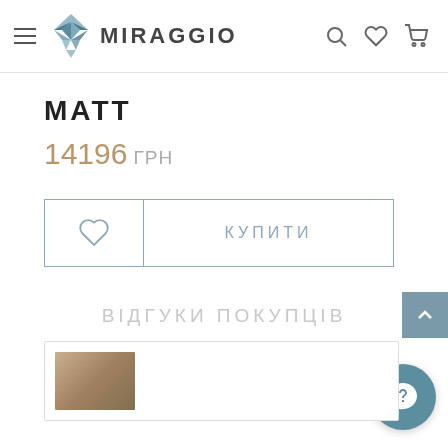MIRAGGIO
MATT
14196 ГРН
КУПИТИ
ВІДГУКИ ПОКУПЦІВ
[Figure (photo): Review card with thumbnail image at bottom of page]